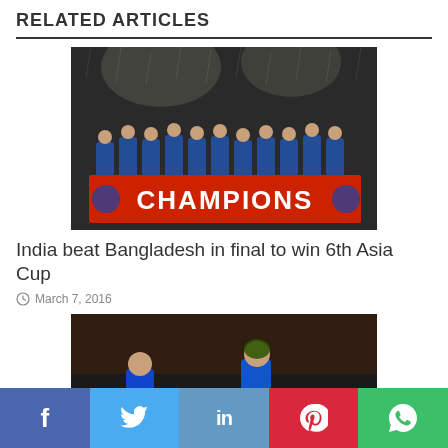RELATED ARTICLES
[Figure (photo): Indian cricket team celebrating with a CHAMPIONS banner at Asia Cup 2016]
India beat Bangladesh in final to win 6th Asia Cup
March 7, 2016
[Figure (photo): Two Indian cricketers in blue jerseys batting during a match]